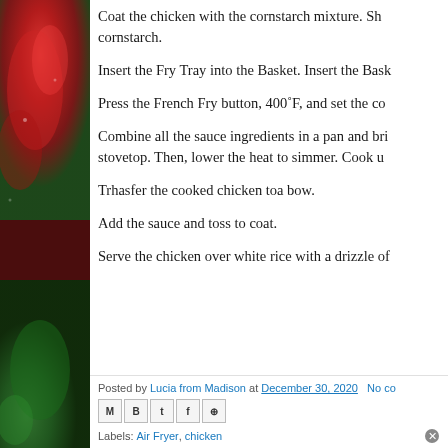[Figure (photo): Left sidebar showing a red and green vegetable/pepper photo with dark red and green tones]
Coat the chicken with the cornstarch mixture. Sh cornstarch.
Insert the Fry Tray into the Basket. Insert the Bask
Press the French Fry button, 400˚F, and set the co
Combine all the sauce ingredients in a pan and bri stovetop. Then, lower the heat to simmer. Cook u
Trhasfer the cooked chicken toa bow.
Add the sauce and toss to coat.
Serve the chicken over white rice with a drizzle of
Posted by Lucia from Madison at December 30, 2020   No co
Labels: Air Fryer, chicken